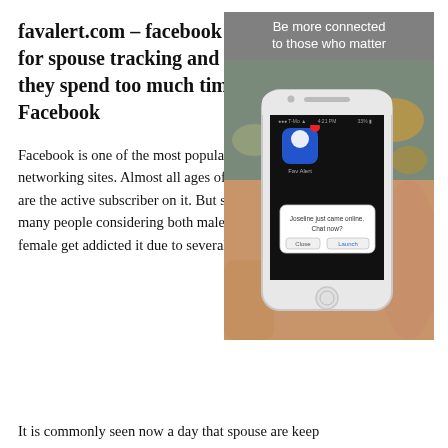favalert.com – facebook addon for spouse tracking and alert if they spend too much time on Facebook
[Figure (photo): A hand holding a white iPhone displaying a Facebook notification app (FavAlert) with a popup saying 'Joseline just came online. Chat now?' with Close and Launch buttons. Above the phone photo is a gray banner reading 'Be more connected to those who matter'.]
Facebook is one of the most popular social networking sites. Almost all ages of people are the active subscriber on it. But sometimes, many people considering both male and female get addicted it due to several reasons.
It is commonly seen now a day that spouse are keep